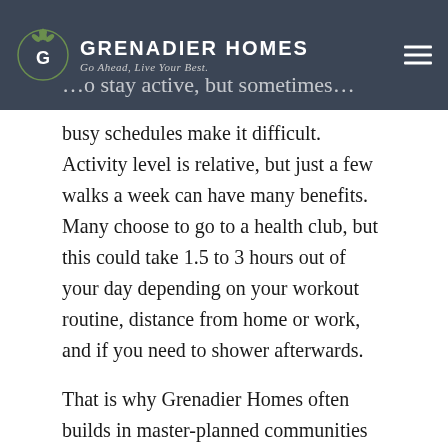GRENADIER HOMES — Go Ahead, Live Your Best.
busy schedules make it difficult. Activity level is relative, but just a few walks a week can have many benefits. Many choose to go to a health club, but this could take 1.5 to 3 hours out of your day depending on your workout routine, distance from home or work, and if you need to shower afterwards.
That is why Grenadier Homes often builds in master-planned communities that have many places for convenient walks in nature or runs on trails. We want our residents to enjoy their